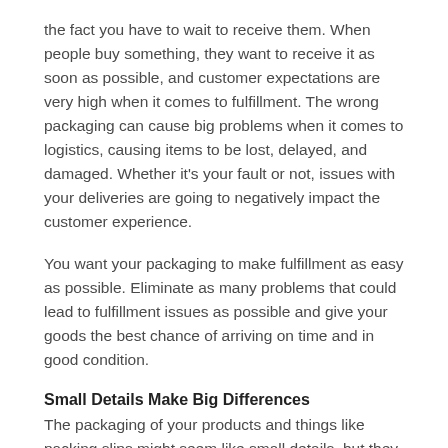the fact you have to wait to receive them. When people buy something, they want to receive it as soon as possible, and customer expectations are very high when it comes to fulfillment. The wrong packaging can cause big problems when it comes to logistics, causing items to be lost, delayed, and damaged. Whether it's your fault or not, issues with your deliveries are going to negatively impact the customer experience.
You want your packaging to make fulfillment as easy as possible. Eliminate as many problems that could lead to fulfillment issues as possible and give your goods the best chance of arriving on time and in good condition.
Small Details Make Big Differences
The packaging of your products and things like packing slips might seem like small details, but they can make a huge difference. The competition in e-